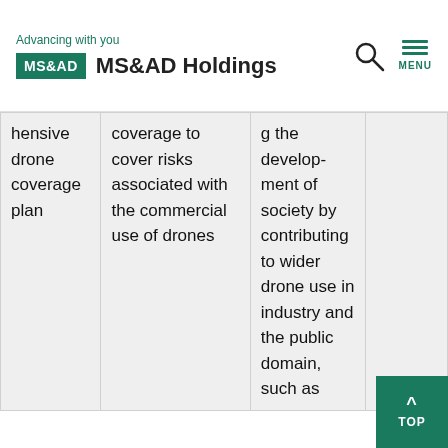Advancing with you | MS&AD Holdings
| Product/Plan | Description | Purpose | Notes |
| --- | --- | --- | --- |
| hensive drone coverage plan | coverage to cover risks associated with the commercial use of drones | g the development of society by contributing to wider drone use in industry and the public domain, such as |  |